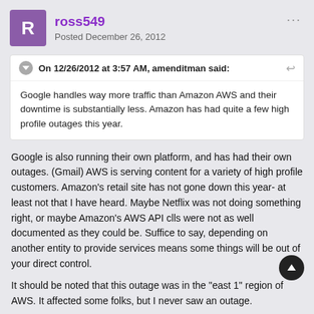ross549
Posted December 26, 2012
On 12/26/2012 at 3:57 AM, amenditman said:
Google handles way more traffic than Amazon AWS and their downtime is substantially less. Amazon has had quite a few high profile outages this year.
Google is also running their own platform, and has had their own outages. (Gmail) AWS is serving content for a variety of high profile customers. Amazon's retail site has not gone down this year- at least not that I have heard. Maybe Netflix was not doing something right, or maybe Amazon's AWS API clls were not as well documented as they could be. Suffice to say, depending on another entity to provide services means some things will be out of your direct control.
It should be noted that this outage was in the "east 1" region of AWS. It affected some folks, but I never saw an outage.